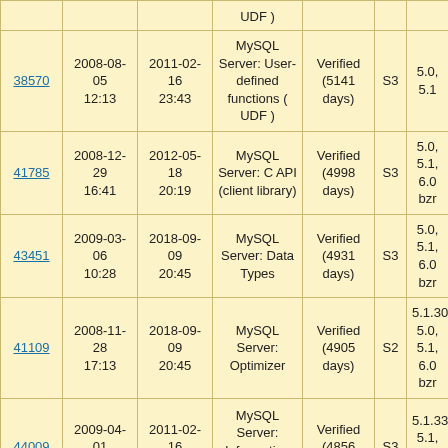| ID | Created | Modified | Category | Status | Sev | Version |
| --- | --- | --- | --- | --- | --- | --- |
| UDF ) |  |  |  |  |  |  |
| 38570 | 2008-08-05 12:13 | 2011-02-16 23:43 | MySQL Server: User-defined functions ( UDF ) | Verified (5141 days) | S3 | 5.0, 5.1 |
| 41785 | 2008-12-29 16:41 | 2012-05-18 20:19 | MySQL Server: C API (client library) | Verified (4998 days) | S3 | 5.0, 5.1, 6.0 bzr |
| 43451 | 2009-03-06 10:28 | 2018-09-09 20:45 | MySQL Server: Data Types | Verified (4931 days) | S3 | 5.0, 5.1, 6.0 bzr |
| 41109 | 2008-11-28 17:13 | 2018-09-09 20:45 | MySQL Server: Optimizer | Verified (4905 days) | S2 | 5.1.30, 5.0, 5.1, 6.0 bzr |
| 44009 | 2009-04-01 8:27 | 2011-02-16 23:43 | MySQL Server: Information ... | Verified (4856 days) | S3 | 5.1.33, 5.1, 6.0 bzr |